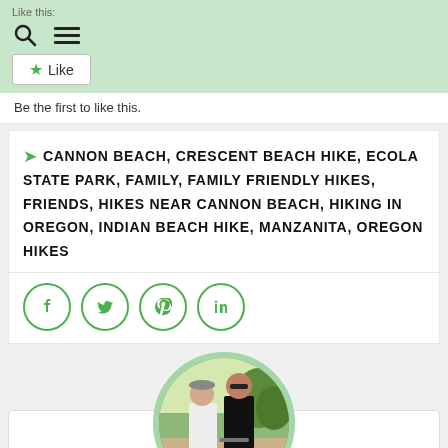Like this:
[Figure (screenshot): WordPress-style like widget with search icon, hamburger menu icon, and a Like button with star icon on green background]
Be the first to like this.
CANNON BEACH, CRESCENT BEACH HIKE, ECOLA STATE PARK, FAMILY, FAMILY FRIENDLY HIKES, FRIENDS, HIKES NEAR CANNON BEACH, HIKING IN OREGON, INDIAN BEACH HIKE, MANZANITA, OREGON HIKES
[Figure (screenshot): Social share icons: Facebook, Twitter, Pinterest, LinkedIn — each in a green circle outline]
[Figure (photo): Circular profile photo of two people at an outdoor sporting event, with a green border ring]